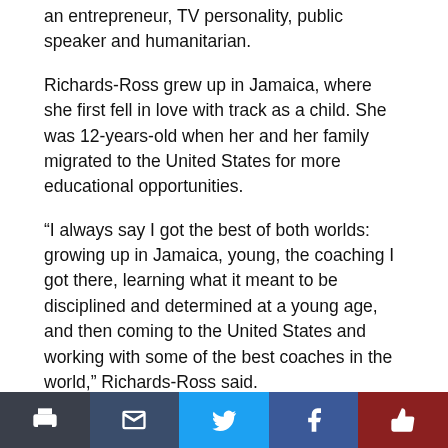an entrepreneur, TV personality, public speaker and humanitarian.
Richards-Ross grew up in Jamaica, where she first fell in love with track as a child. She was 12-years-old when her and her family migrated to the United States for more educational opportunities.
“I always say I got the best of both worlds: growing up in Jamaica, young, the coaching I got there, learning what it meant to be disciplined and determined at a young age, and then coming to the United States and working with some of the best coaches in the world,” Richards-Ross said.
A major foundation set for Richards-Ross in Jamaica was that her parents were serious about school. Because of that, she always did her best to achieve
Print | Email | Tweet | Facebook | Like